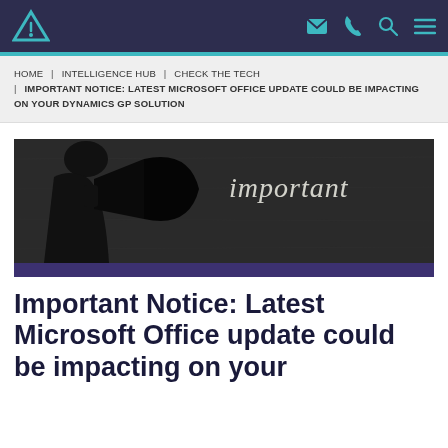Navigation bar with logo and icons
HOME | INTELLIGENCE HUB | CHECK THE TECH | IMPORTANT NOTICE: LATEST MICROSOFT OFFICE UPDATE COULD BE IMPACTING ON YOUR DYNAMICS GP SOLUTION
[Figure (photo): Silhouette of a person with a megaphone against a dark chalkboard background with the word 'important' written in chalk on the right side. A dark purple bar sits at the bottom of the image.]
Important Notice: Latest Microsoft Office update could be impacting on your